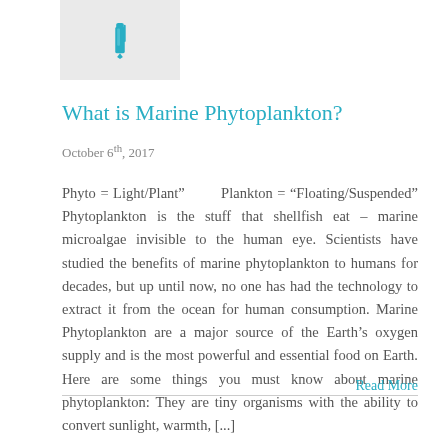[Figure (illustration): A teal/blue fountain pen icon on a light grey rectangular background]
What is Marine Phytoplankton?
October 6th, 2017
Phyto = Light/Plant”        Plankton = “Floating/Suspended” Phytoplankton is the stuff that shellfish eat – marine microalgae invisible to the human eye. Scientists have studied the benefits of marine phytoplankton to humans for decades, but up until now, no one has had the technology to extract it from the ocean for human consumption. Marine Phytoplankton are a major source of the Earth’s oxygen supply and is the most powerful and essential food on Earth. Here are some things you must know about marine phytoplankton: They are tiny organisms with the ability to convert sunlight, warmth, [...]
Read More